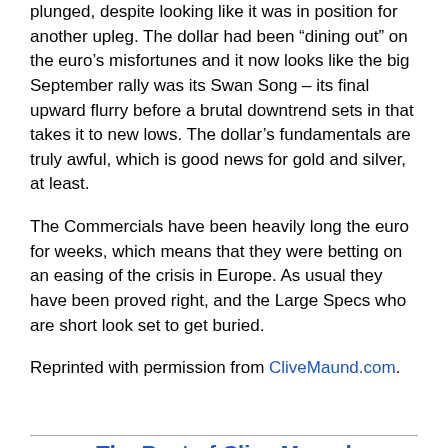plunged, despite looking like it was in position for another upleg. The dollar had been “dining out” on the euro’s misfortunes and it now looks like the big September rally was its Swan Song – its final upward flurry before a brutal downtrend sets in that takes it to new lows. The dollar’s fundamentals are truly awful, which is good news for gold and silver, at least.
The Commercials have been heavily long the euro for weeks, which means that they were betting on an easing of the crisis in Europe. As usual they have been proved right, and the Large Specs who are short look set to get buried.
Reprinted with permission from CliveMaund.com.
The Best of Clive Maund